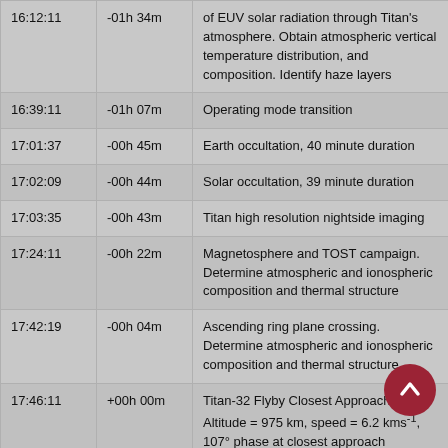| Time | Relative | Description |
| --- | --- | --- |
| 16:12:11 | -01h 34m | of EUV solar radiation through Titan's atmosphere. Obtain atmospheric vertical temperature distribution, and composition. Identify haze layers |
| 16:39:11 | -01h 07m | Operating mode transition |
| 17:01:37 | -00h 45m | Earth occultation, 40 minute duration |
| 17:02:09 | -00h 44m | Solar occultation, 39 minute duration |
| 17:03:35 | -00h 43m | Titan high resolution nightside imaging |
| 17:24:11 | -00h 22m | Magnetosphere and TOST campaign. Determine atmospheric and ionospheric composition and thermal structure |
| 17:42:19 | -00h 04m | Ascending ring plane crossing.
Determine atmospheric and ionospheric composition and thermal structure |
| 17:46:11 | +00h 00m | Titan-32 Flyby Closest Approach Time. Altitude = 975 km, speed = 6.2 kms⁻¹, 107° phase at closest approach |
| 18:01:11 | +00h 15m | Turn to limb |
| 18:08:11 | +00h 22m | Operating mode transition |
|  |  | Titan atmospheric observations. Vertical temperature... |